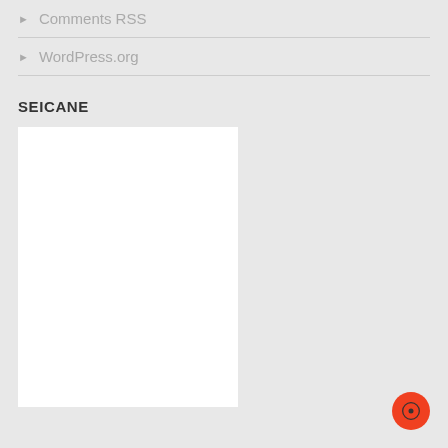Comments RSS
WordPress.org
SEICANE
[Figure (other): White rectangle/banner placeholder below SEICANE heading]